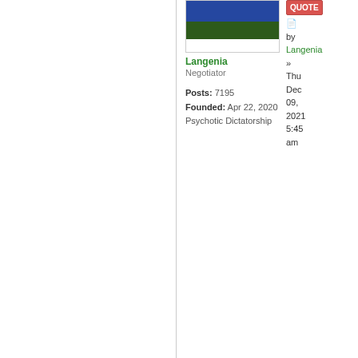[Figure (illustration): Flag of Langenia with blue, dark green, and white horizontal stripes]
Langenia
Negotiator

Posts: 7195
Founded: Apr 22, 2020
Psychotic Dictatorship
by Langenia » Thu Dec 09, 2021 5:45 am